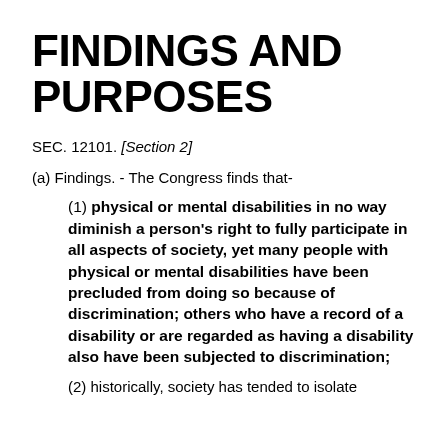FINDINGS AND PURPOSES
SEC. 12101. [Section 2]
(a) Findings. - The Congress finds that-
(1) physical or mental disabilities in no way diminish a person's right to fully participate in all aspects of society, yet many people with physical or mental disabilities have been precluded from doing so because of discrimination; others who have a record of a disability or are regarded as having a disability also have been subjected to discrimination;
(2) historically, society has tended to isolate